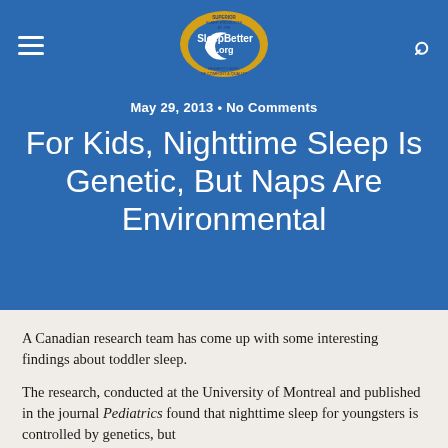SleepBetter.org
May 29, 2013 · No Comments
For Kids, Nighttime Sleep Is Genetic, But Naps Are Environmental
A Canadian research team has come up with some interesting findings about toddler sleep.
The research, conducted at the University of Montreal and published in the journal Pediatrics found that nighttime sleep for youngsters is controlled by genetics, but